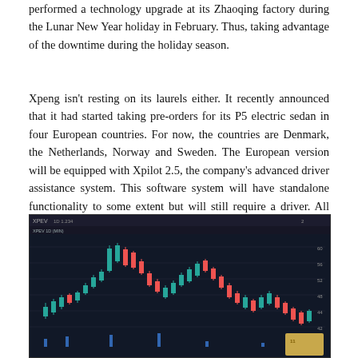performed a technology upgrade at its Zhaoqing factory during the Lunar New Year holiday in February. Thus, taking advantage of the downtime during the holiday season.
Xpeng isn't resting on its laurels either. It recently announced that it had started taking pre-orders for its P5 electric sedan in four European countries. For now, the countries are Denmark, the Netherlands, Norway and Sweden. The European version will be equipped with Xpilot 2.5, the company's advanced driver assistance system. This software system will have standalone functionality to some extent but will still require a driver. All things considered, would you say XPEV stock is one of the top automotive stocks to watch?
[Figure (screenshot): Screenshot of a stock trading chart (candlestick chart) for XPEV showing price action with green and red candlesticks on a dark background, with blue volume bars at the bottom and a gold widget in the lower right corner.]